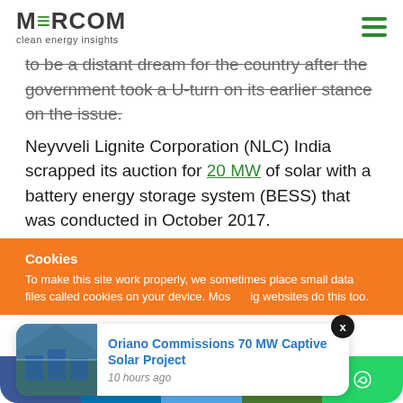MERCOM clean energy insights
to be a distant dream for the country after the government took a U-turn on its earlier stance on the issue.
Neyvveli Lignite Corporation (NLC) India scrapped its auction for 20 MW of solar with a battery energy storage system (BESS) that was conducted in October 2017.
Cookies
To make this site work properly, we sometimes place small data files called cookies on your device. Most big websites do this too.
Oriano Commissions 70 MW Captive Solar Project
10 hours ago